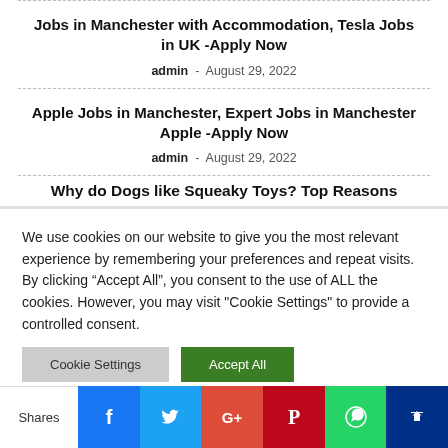Jobs in Manchester with Accommodation, Tesla Jobs in UK -Apply Now
admin - August 29, 2022
Apple Jobs in Manchester, Expert Jobs in Manchester Apple -Apply Now
admin - August 29, 2022
Why do Dogs like Squeaky Toys? Top Reasons
We use cookies on our website to give you the most relevant experience by remembering your preferences and repeat visits. By clicking “Accept All”, you consent to the use of ALL the cookies. However, you may visit "Cookie Settings" to provide a controlled consent.
[Figure (infographic): Social share bar with Facebook, Twitter, Google+, Pinterest, WhatsApp, and another share icon buttons, preceded by 'Shares' label]